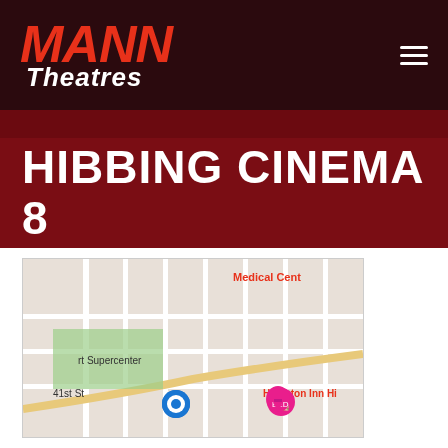Mann Theatres
HIBBING CINEMA 8
[Figure (map): Google Maps showing location near Walmart Supercenter, 41st St, Hampton Inn Hibbing, and Medical Center area in Hibbing MN]
4015 9TH AVE WEST
HIBBING, MN 55746
Get Directions
Your Preferred Theatre
Movie Line: 218-262-3382   Business Line: 218-262-1606